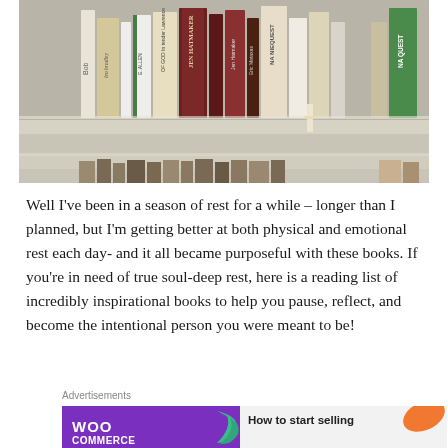[Figure (photo): Photo of books arranged on a bookshelf, showing spines of various books including titles by authors such as Jen Hatmaker, Shauna Niequiest, and others. Two shelves visible.]
Well I've been in a season of rest for a while – longer than I planned, but I'm getting better at both physical and emotional rest each day- and it all became purposeful with these books. If you're in need of true soul-deep rest, here is a reading list of incredibly inspirational books to help you pause, reflect, and become the intentional person you were meant to be!
Advertisements
[Figure (screenshot): WooCommerce advertisement banner with purple background showing WooCommerce logo on left and 'How to start selling' text on right with orange leaf graphic.]